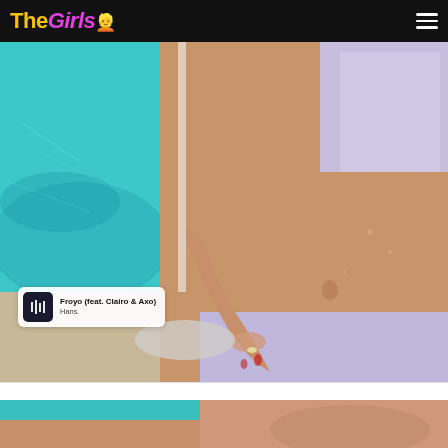The Girls 👱‍♀️
[Figure (photo): Close-up photo of a woman in a sparkly/iridescent bikini sitting by a swimming pool. The turquoise pool water is visible in the background. The woman has a tanned midriff visible and is wearing a ring on her finger. A music widget overlay shows 'Froyo (feat. Clairo & Axo) Hans.']
[Figure (photo): Partial bottom strip showing beginning of another poolside photo with turquoise water and skin tones visible.]